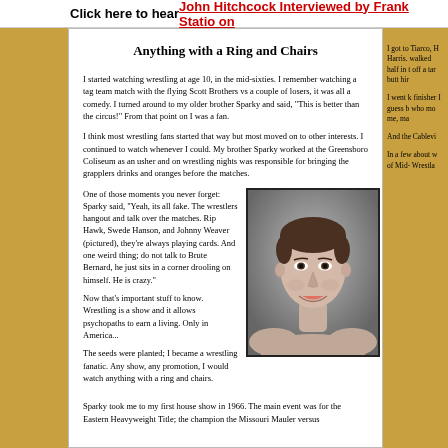Click here to hear John Hitchcock Interviewed by Frank Statio on
Anything with a Ring and Chairs
I started watching wrestling at age 10, in the mid-sixties. I remember watching a tag team match with the flying Scott Brothers vs a couple of losers, it was all a comedy. I turned around to my older brother Sparky and said, "This is better than the circus!" From that point on I was a fan.
I think most wrestling fans started that way but most moved on to other interests. I continued to watch whenever I could. My brother Sparky worked at the Greensboro Coliseum as an usher and on wrestling nights was responsible for bringing the grapplers drinks and oranges before the matches.
One of those moments you never forget: Sparky said, "Yeah, its all fake. The wrestlers hangout and talk over the matches. Rip Hawk, Swede Hanson, and Johnny Weaver (pictured), they're always playing cards. And one weird thing; do not talk to Brute Bernard, he just sits in a corner drooling on himself. He is crazy."
[Figure (photo): Black and white portrait photo of a male wrestler, smiling, with short dark hair, bare-chested]
Now that's important stuff to know. Wrestling is a show and it allows psychopaths to earn a living. Only in America...
The seeds were planted; I became a wrestling fanatic. Any show, any promotion, I would watch anything with a ring and chairs.
Sparky took me to my first house show in 1966. The main event was for the Eastern Heavyweight Title; the champion the Missouri Mauler versus